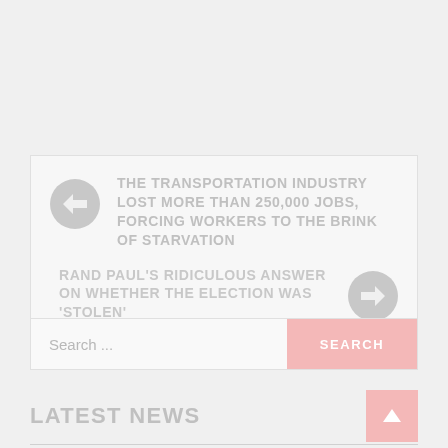THE TRANSPORTATION INDUSTRY LOST MORE THAN 250,000 JOBS, FORCING WORKERS TO THE BRINK OF STARVATION
RAND PAUL'S RIDICULOUS ANSWER ON WHETHER THE ELECTION WAS 'STOLEN'
Search ...
SEARCH
LATEST NEWS